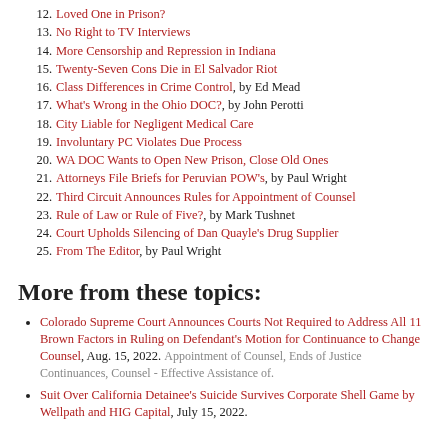12. Loved One in Prison?
13. No Right to TV Interviews
14. More Censorship and Repression in Indiana
15. Twenty-Seven Cons Die in El Salvador Riot
16. Class Differences in Crime Control, by Ed Mead
17. What's Wrong in the Ohio DOC?, by John Perotti
18. City Liable for Negligent Medical Care
19. Involuntary PC Violates Due Process
20. WA DOC Wants to Open New Prison, Close Old Ones
21. Attorneys File Briefs for Peruvian POW's, by Paul Wright
22. Third Circuit Announces Rules for Appointment of Counsel
23. Rule of Law or Rule of Five?, by Mark Tushnet
24. Court Upholds Silencing of Dan Quayle's Drug Supplier
25. From The Editor, by Paul Wright
More from these topics:
Colorado Supreme Court Announces Courts Not Required to Address All 11 Brown Factors in Ruling on Defendant's Motion for Continuance to Change Counsel, Aug. 15, 2022. Appointment of Counsel, Ends of Justice Continuances, Counsel - Effective Assistance of.
Suit Over California Detainee's Suicide Survives Corporate Shell Game by Wellpath and HIG Capital, July 15, 2022.